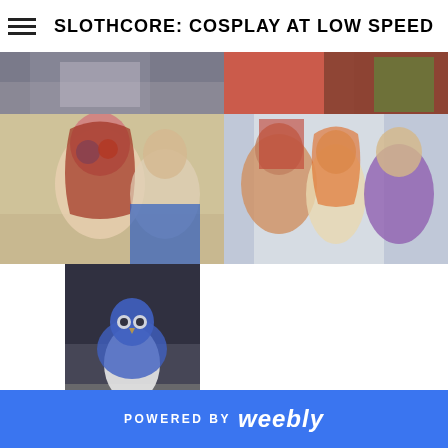SLOTHCORE: COSPLAY AT LOW SPEED
[Figure (photo): Partial photo top-left, blurred cosplay items]
[Figure (photo): Partial photo top-right, red Iron Man costume]
[Figure (photo): Woman with red wig and face paint as Starfire, with girl in Captain America costume, selfie]
[Figure (photo): Three people posing, including Iron Man costume and woman with orange hair]
[Figure (photo): Child in blue owl/bird costume at night outdoors]
POWERED BY weebly